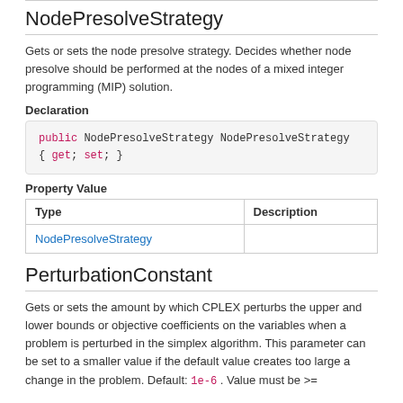NodePresolveStrategy
Gets or sets the node presolve strategy. Decides whether node presolve should be performed at the nodes of a mixed integer programming (MIP) solution.
Declaration
public NodePresolveStrategy NodePresolveStrategy { get; set; }
Property Value
| Type | Description |
| --- | --- |
| NodePresolveStrategy |  |
PerturbationConstant
Gets or sets the amount by which CPLEX perturbs the upper and lower bounds or objective coefficients on the variables when a problem is perturbed in the simplex algorithm. This parameter can be set to a smaller value if the default value creates too large a change in the problem. Default: 1e-6 . Value must be >=